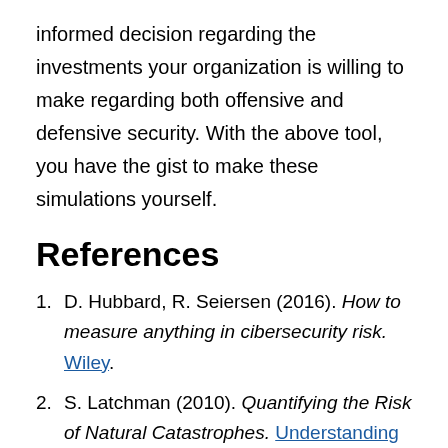informed decision regarding the investments your organization is willing to make regarding both offensive and defensive security. With the above tool, you have the gist to make these simulations yourself.
References
1. D. Hubbard, R. Seiersen (2016). How to measure anything in cibersecurity risk. Wiley.
2. S. Latchman (2010). Quantifying the Risk of Natural Catastrophes. Understanding Uncertainty.